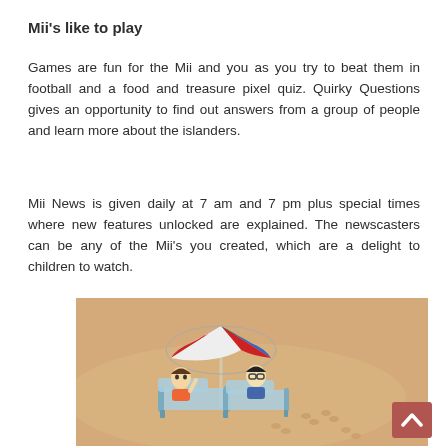Mii's like to play
Games are fun for the Mii and you as you try to beat them in football and a food and treasure pixel quiz. Quirky Questions gives an opportunity to find out answers from a group of people and learn more about the islanders.
Mii News is given daily at 7 am and 7 pm plus special times where new features unlocked are explained. The newscasters can be any of the Mii's you created, which are a delight to children to watch.
[Figure (illustration): A Wii game screenshot showing two Mii characters relaxing on beach lounge chairs under a colorful beach umbrella on a sandy beach scene.]